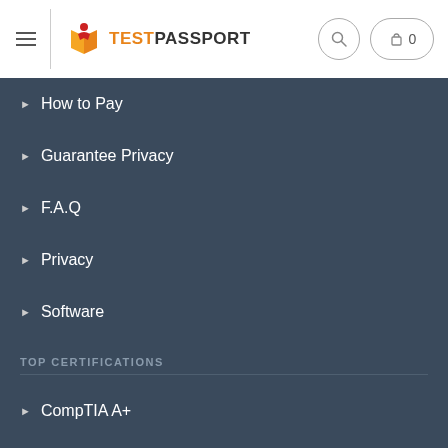[Figure (logo): TestPassport logo with book icon and orange/dark text]
How to Pay
Guarantee Privacy
F.A.Q
Privacy
Software
TOP CERTIFICATIONS
CompTIA A+
HCIA-Storage
Netapp NCDA
NACE